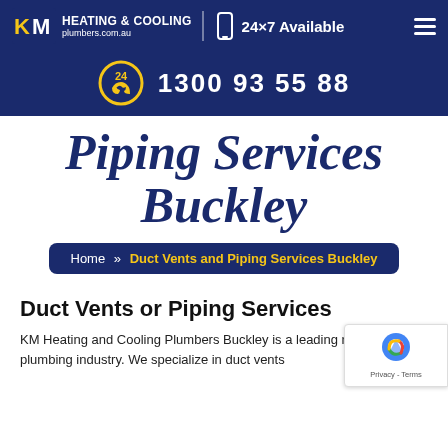KM HEATING & COOLING plumbers.com.au | 24×7 Available
1300 93 55 88
Piping Services Buckley
Home » Duct Vents and Piping Services Buckley
Duct Vents or Piping Services
KM Heating and Cooling Plumbers Buckley is a leading name in the plumbing industry. We specialize in duct vents